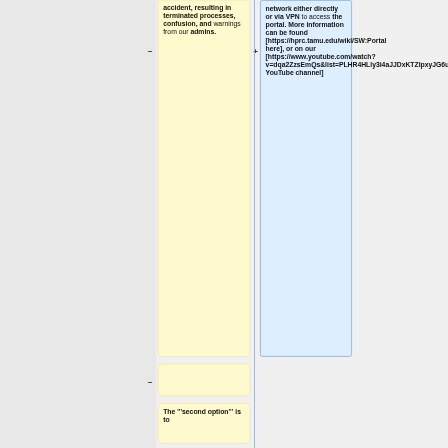accident, resulting in terminated processes, confusion, and warnings from our admins.
network either directly or via VPN to access the portal. More information can be found [https://hprc.tamu.edu/wiki/SW:Portal here], or on our [https://www.youtube.com/watch?v=dqa2ZzsEmQs&list=PLHR4HLly3i4aJJDxKTZIpxyJG6uSqgAgd YouTube channel]
The '''second option''' is to